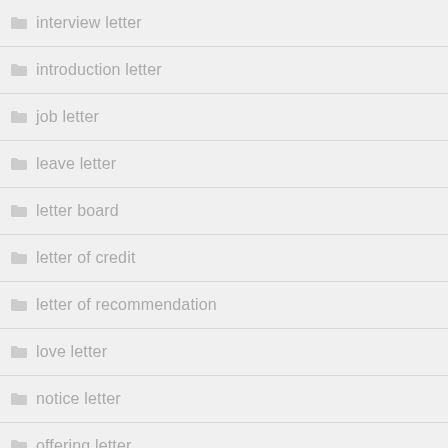interview letter
introduction letter
job letter
leave letter
letter board
letter of credit
letter of recommendation
love letter
notice letter
offering letter